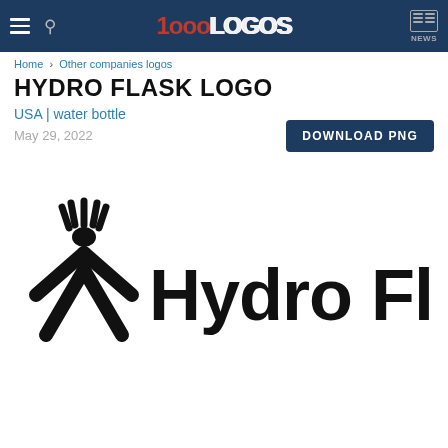1000LOGOS — NEWS
Home › Other companies logos
HYDRO FLASK LOGO
USA | water bottle
May 29, 2022
DOWNLOAD PNG
[Figure (logo): Hydro Flask logo — black stylized figure with arms and legs spread apart forming an X shape, with hand fingers visible above, alongside bold text 'Hydro Flask' in black sans-serif font]